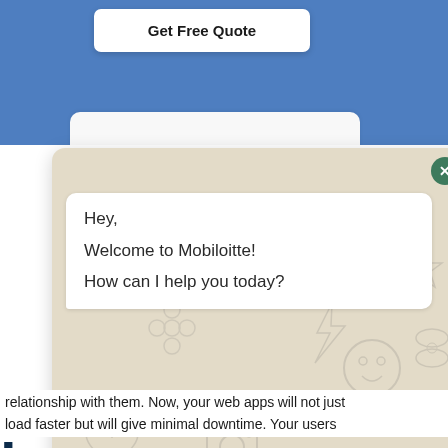[Figure (screenshot): Screenshot of a website with a WhatsApp-style chat widget overlay. The top portion shows a blue header with a 'Get Free Quote' button. A chat popup displays a white message bubble saying 'Hey, Welcome to Mobiloitte! How can I help you today?' with a green send button and text input. Behind the widget, partially visible bold dark blue text reads 'ation in', '/eb', and 'l'. Below, white background body text reads about web app and long-term relationship, with 'apps will not just load faster but will give minimal downtime. Your users'.]
Get Free Quote
Hey,
Welcome to Mobiloitte!
How can I help you today?
ation in
/eb
l
e web app build a long-term relationship with them. Now, your web apps will not just load faster but will give minimal downtime. Your users